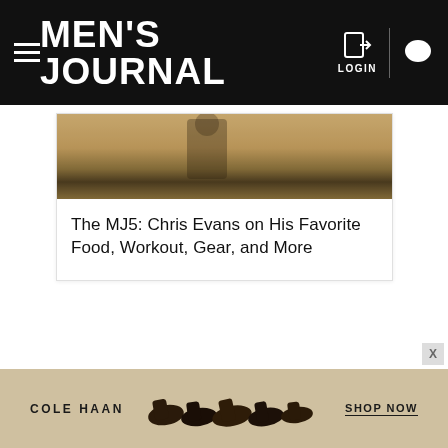MEN'S JOURNAL
[Figure (photo): Article thumbnail image showing a person outdoors with a sandy/earthy background]
The MJ5: Chris Evans on His Favorite Food, Workout, Gear, and More
[Figure (photo): Cole Haan advertisement banner showing dark leather shoes and boots with text 'COLE HAAN' and 'SHOP NOW']